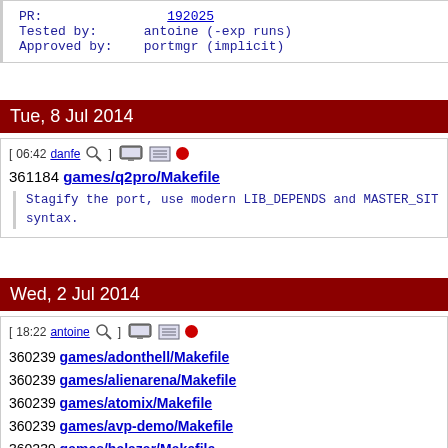PR: 192025
Tested by: antoine (-exp runs)
Approved by: portmgr (implicit)
Tue, 8 Jul 2014
[ 06:42 danfe ] [icons]
361184 games/q2pro/Makefile
Stagify the port, use modern LIB_DEPENDS and MASTER_SITE syntax.
Wed, 2 Jul 2014
[ 18:22 antoine ] [icons]
360239 games/adonthell/Makefile
360239 games/alienarena/Makefile
360239 games/atomix/Makefile
360239 games/avp-demo/Makefile
360239 games/balazar/Makefile
360239 games/balazarbrothers/Makefile
360239 games/blockout/Makefile
360239 games/bsdtris/Makefile